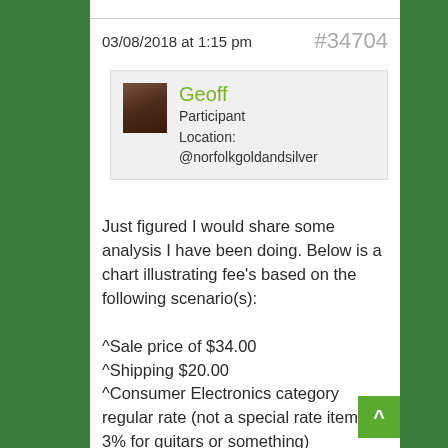03/08/2018 at 1:15 pm    #34704
Geoff
Participant
Location: @norfolkgoldandsilver
Just figured I would share some analysis I have been doing. Below is a chart illustrating fee's based on the following scenario(s):

^Sale price of $34.00
^Shipping $20.00
^Consumer Electronics category regular rate (not a special rate item like 3% for guitars or something)
^including paypal fee, insertion fees or portion of store subscription fee for the item, final value fee's under